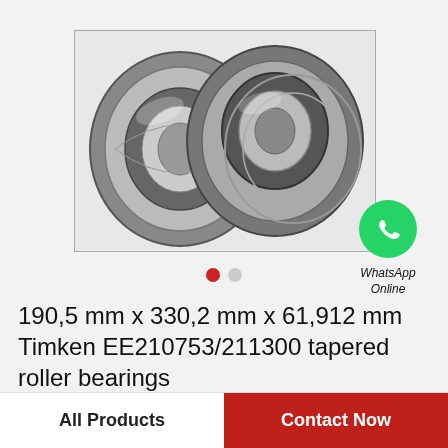[Figure (photo): Two tapered roller bearings (Timken EE210753/211300) shown side by side on white background, one set upright and one set at an angle, metallic silver/steel colored.]
[Figure (logo): WhatsApp green circle logo with white phone handset icon, labeled 'WhatsApp Online' in italic text below.]
190,5 mm x 330,2 mm x 61,912 mm Timken EE210753/211300 tapered roller bearings
All Products
Contact Now